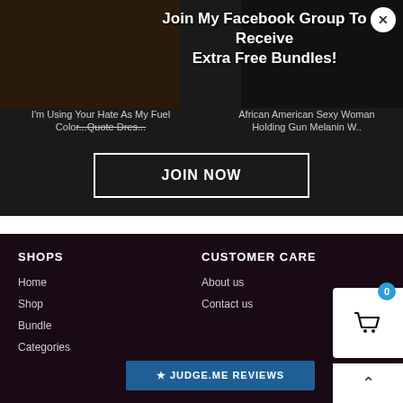Join My Facebook Group To Receive Extra Free Bundles!
I'm Using Your Hate As My Fuel Color...Quote Dres...
African American Sexy Woman Holding Gun Melanin W..
JOIN NOW
$2.50  $3.99
ADD TO CART
$2.50  $3.99
ADD TO CART
SHOPS
Home
Shop
Bundle
Categories
CUSTOMER CARE
About us
Contact us
★ JUDGE.ME REVIEWS